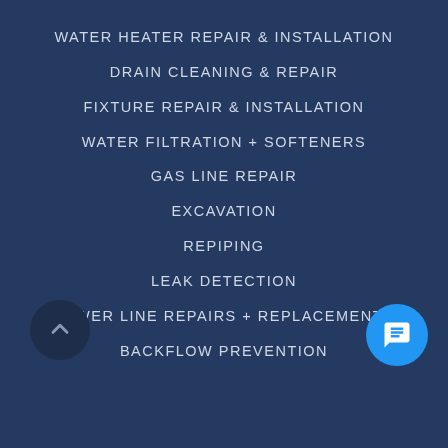WATER HEATER REPAIR & INSTALLATION
DRAIN CLEANING & REPAIR
FIXTURE REPAIR & INSTALLATION
WATER FILTRATION + SOFTENERS
GAS LINE REPAIR
EXCAVATION
REPIPING
LEAK DETECTION
SEWER LINE REPAIRS + REPLACEMENTS
BACKFLOW PREVENTION